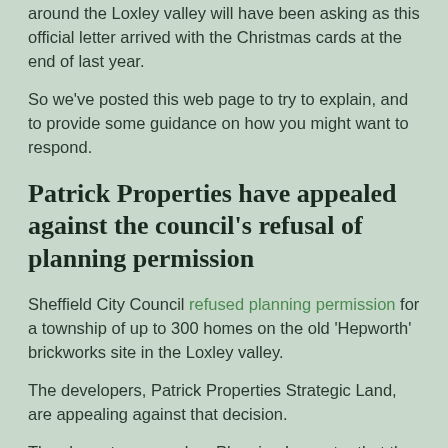around the Loxley valley will have been asking as this official letter arrived with the Christmas cards at the end of last year.
So we've posted this web page to try to explain, and to provide some guidance on how you might want to respond.
Patrick Properties have appealed against the council's refusal of planning permission
Sheffield City Council refused planning permission for a township of up to 300 homes on the old 'Hepworth' brickworks site in the Loxley valley.
The developers, Patrick Properties Strategic Land, are appealing against that decision.
They hope to persuade a Planning Inspector that the council got it wrong, and that the decision should be overturned.